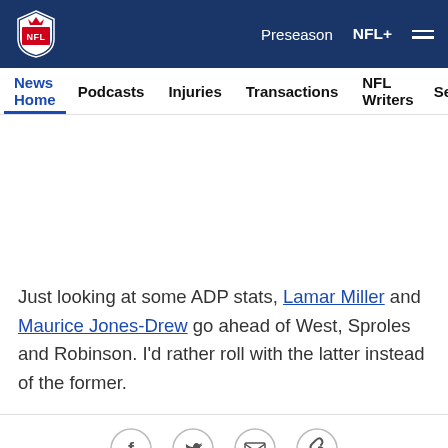NFL — Preseason | NFL+ | Navigation menu
News Home | Podcasts | Injuries | Transactions | NFL Writers | Se...
Just looking at some ADP stats, Lamar Miller and Maurice Jones-Drew go ahead of West, Sproles and Robinson. I'd rather roll with the latter instead of the former.